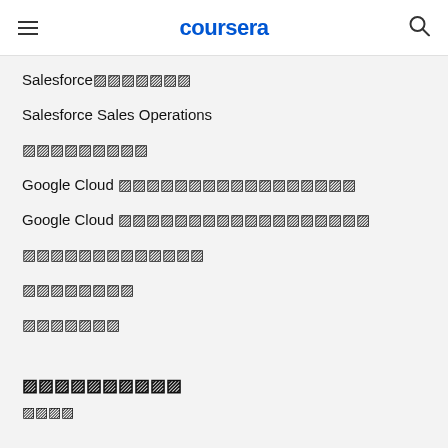coursera
Salesforce専門講座
Salesforce Sales Operations
データサイエンス
Google Cloud データエンジニアリングプロフェッショナル
Google Cloud クラウドアーキテクチャプロフェッショナル
プロジェクトマネジメント
マーケティング
コンピュータ
おすすめの専門講座
すべて